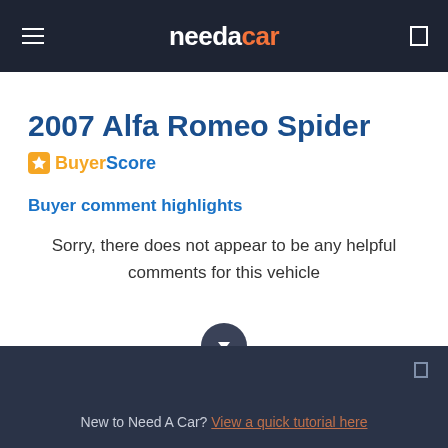needacar
2007 Alfa Romeo Spider
[Figure (logo): BuyerScore badge with star icon, 'Buyer' in orange and 'Score' in blue]
Buyer comment highlights
Sorry, there does not appear to be any helpful comments for this vehicle
New to Need A Car? View a quick tutorial here